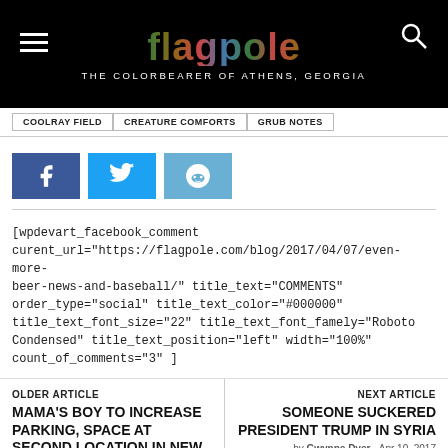flagpole — THE COLORBEARER OF ATHENS, GEORGIA
COOLRAY FIELD | CREATURE COMFORTS | GRUB NOTES
[Figure (infographic): Social share buttons: Facebook (blue), Twitter (light blue), Reddit (light blue)]
[wpdevart_facebook_comment curent_url="https://flagpole.com/blog/2017/04/07/even-more-beer-news-and-baseball/" title_text="COMMENTS" order_type="social" title_text_color="#000000" title_text_font_size="22" title_text_font_famely="Roboto Condensed" title_text_position="left" width="100%" count_of_comments="3" ]
OLDER ARTICLE
MAMA'S BOY TO INCREASE PARKING, SPACE AT SECOND LOCATION IN NEW SHOPPING CENTER
NEXT ARTICLE
SOMEONE SUCKERED PRESIDENT TRUMP IN SYRIA
by Gwynne Dyer - Apr 10, 2017